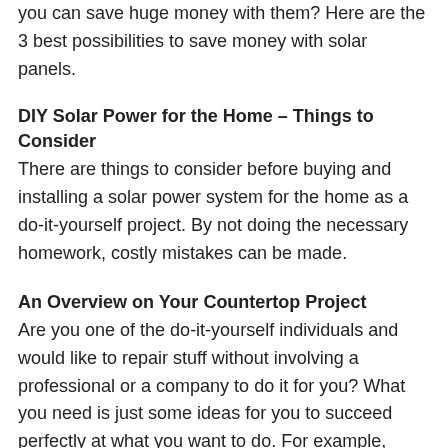you can save huge money with them? Here are the 3 best possibilities to save money with solar panels.
DIY Solar Power for the Home – Things to Consider
There are things to consider before buying and installing a solar power system for the home as a do-it-yourself project. By not doing the necessary homework, costly mistakes can be made.
An Overview on Your Countertop Project
Are you one of the do-it-yourself individuals and would like to repair stuff without involving a professional or a company to do it for you? What you need is just some ideas for you to succeed perfectly at what you want to do. For example, good ideas on how to do a perfect granite countertop at a good cost are at your finger tips.